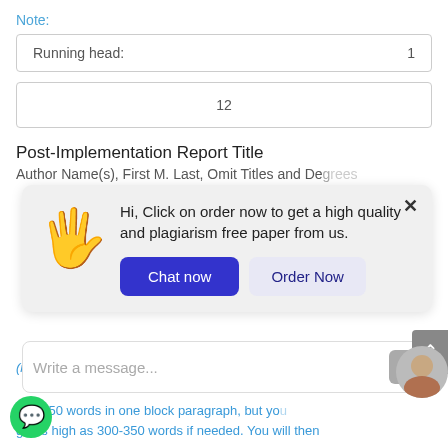Note:
| Running head: | 1 |
| 12 |
Post-Implementation Report Title
Author Name(s), First M. Last, Omit Titles and Degrees
[Figure (screenshot): Chat popup with waving hand emoji, message 'Hi, Click on order now to get a high quality and plagiarism free paper from us.' with 'Chat now' and 'Order Now' buttons]
(no indents); include a sentence or two for each of the
and 250 words in one block paragraph, but you go as high as 300-350 words if needed. You will then